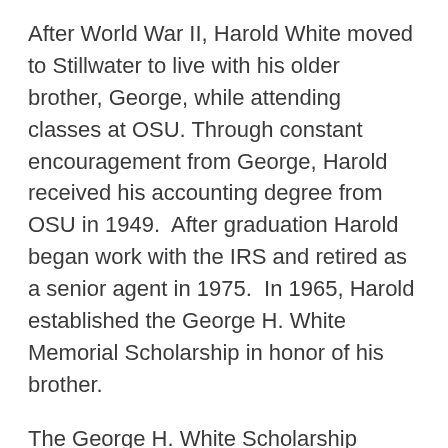After World War II, Harold White moved to Stillwater to live with his older brother, George, while attending classes at OSU. Through constant encouragement from George, Harold received his accounting degree from OSU in 1949.  After graduation Harold began work with the IRS and retired as a senior agent in 1975.  In 1965, Harold established the George H. White Memorial Scholarship in honor of his brother.
The George H. White Scholarship benefits a full time student pursuing a degree in a field of humanities.